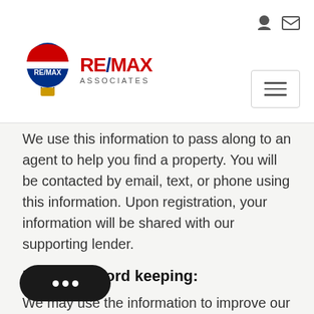RE/MAX ASSOCIATES
We use this information to pass along to an agent to help you find a property. You will be contacted by email, text, or phone using this information. Upon registration, your information will be shared with our supporting lender.
Internal record keeping:
We may use the information to improve our products and services. We may periodically send promotional emails about new products, special offers, or other information which we think you may find interesting using the email address which you have provided. From time to time, we may also use your information to conduct for market research purposes. We may contact you by phone, fax, or mail. We may use the information to customize the website according to your interests. We may